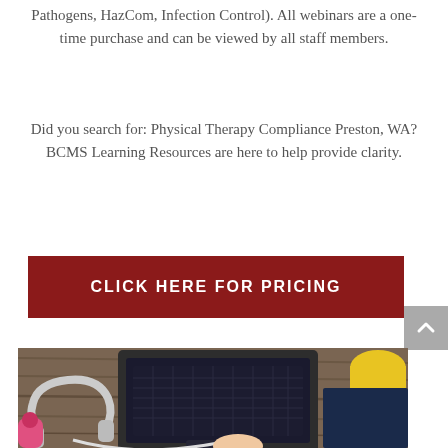Pathogens, HazCom, Infection Control). All webinars are a one-time purchase and can be viewed by all staff members.
Did you search for: Physical Therapy Compliance Preston, WA? BCMS Learning Resources are here to help provide clarity.
[Figure (other): Dark red button with white uppercase text: CLICK HERE FOR PRICING]
[Figure (photo): Photo of a laptop on a wooden desk with headphones, a yellow mug, and other objects scattered around. A person's hand is visible.]